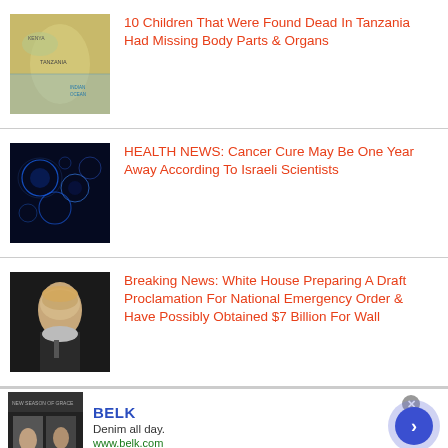[Figure (photo): Map of Tanzania region]
10 Children That Were Found Dead In Tanzania Had Missing Body Parts & Organs
[Figure (photo): Blue glowing cancer cells microscopy image]
HEALTH NEWS: Cancer Cure May Be One Year Away According To Israeli Scientists
[Figure (photo): Portrait photo of Donald Trump]
Breaking News: White House Preparing A Draft Proclamation For National Emergency Order & Have Possibly Obtained $7 Billion For Wall
[Figure (photo): BELK advertisement with Denim all day slogan]
BELK
Denim all day.
www.belk.com